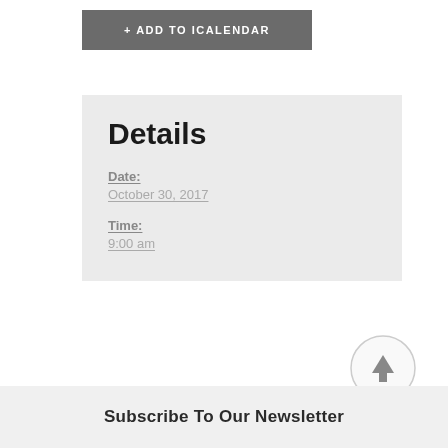+ ADD TO ICALENDAR
Details
Date:
October 30, 2017
Time:
9:00 am
[Figure (other): Scroll to top button — circular button with upward arrow]
Subscribe To Our Newsletter